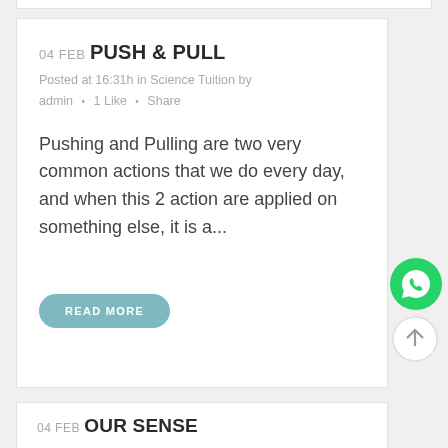04 FEB PUSH & PULL
Posted at 16:31h in Science Tuition by admin  •  1 Like  •  Share
Pushing and Pulling are two very common actions that we do every day, and when this 2 action are applied on something else, it is a...
READ MORE
04 FEB OUR SENSE